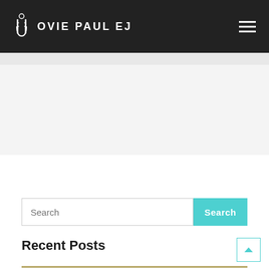OVIE PAUL EJ
[Figure (screenshot): Search input field with placeholder text 'Search' and a teal 'Search' button]
Recent Posts